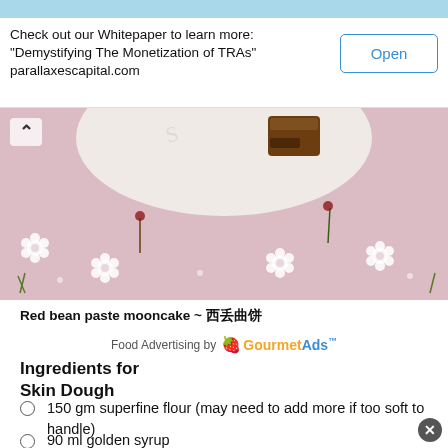[Figure (other): Advertisement banner: text reads 'Check out our Whitepaper to learn more: "Demystifying The Monetization of TRAs" parallaxescapital.com' with an 'Open' button on the right]
[Figure (photo): Photo of a plate with a piece of red bean paste mooncake on a pink floral tablecloth]
Red bean paste mooncake ~ 豆沙月饼
Food Advertising by GourmetAds
Ingredients for Skin Dough
150 gm superfine flour (may need to add more if too soft to handle)
90 ml golden syrup
38 ml vegetable oil
2 ml alkaline water
Egg wash - 1 whole egg + 1 tsp